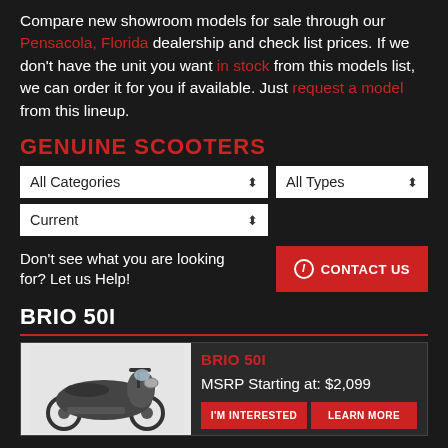Compare new showroom models for sale through our Pensacola, Florida dealership and check list prices. If we don't have the unit you want in stock from this models list, we can order it for you if available. Just request a model from this lineup.
GENUINE SCOOTERS
[Figure (screenshot): Filter dropdowns: All Categories, All Types, Current]
Don't see what you are looking for? Let us Help!
BRIO 50I
[Figure (other): Product card for BRIO 50I scooter with image, MSRP Starting at: $2,099, and I'M INTERESTED / LEARN MORE buttons]